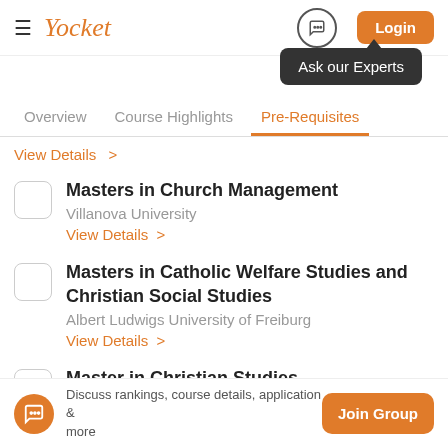Yocket
[Figure (screenshot): Ask our Experts tooltip popup]
Overview  Course Highlights  Pre-Requisites
View Details >
Masters in Church Management - Villanova University - View Details >
Masters in Catholic Welfare Studies and Christian Social Studies - Albert Ludwigs University of Freiburg - View Details >
Master in Christian Studies - Ambrose University
Discuss rankings, course details, application & more  Join Group